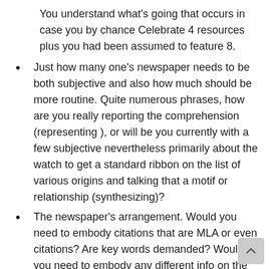You understand what's going that occurs in case you by chance Celebrate 4 resources plus you had been assumed to feature 8.
Just how many one's newspaper needs to be both subjective and also how much should be more routine. Quite numerous phrases, how are you really reporting the comprehension (representing ), or will be you currently with a few subjective nevertheless primarily about the watch to get a standard ribbon on the list of various origins and talking that a motif or relationship (synthesizing)?
The newspaper's arrangement. Would you need to embody citations that are MLA or even citations? Are key words demanded? Would you need to embody any different info on the own newspaper?